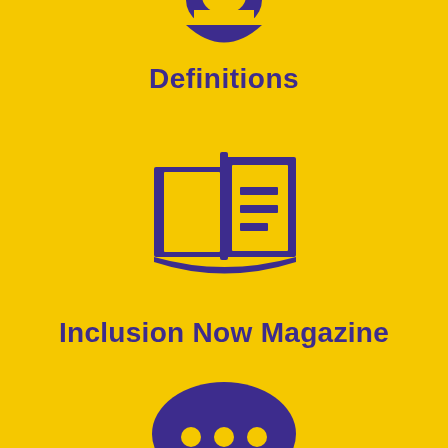[Figure (illustration): Purple partial circular icon at the top (bottom portion of a person/globe icon cut off at top edge)]
Definitions
[Figure (illustration): Purple open book/magazine icon with lines representing text on the right page]
Inclusion Now Magazine
[Figure (illustration): Purple speech bubble icon with three dots inside]